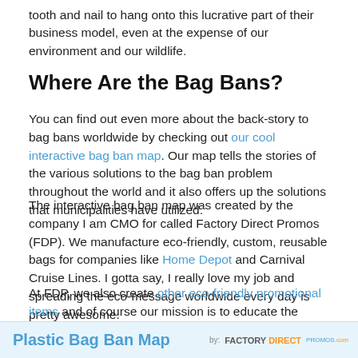tooth and nail to hang onto this lucrative part of their business model, even at the expense of our environment and our wildlife.
Where Are the Bag Bans?
You can find out even more about the back-story to bag bans worldwide by checking out our cool interactive bag ban map. Our map tells the stories of the various solutions to the bag ban problem throughout the world and it also offers up the solutions that municipalities have utilized.
The interactive bag ban map was created by the company I am CMO for called Factory Direct Promos (FDP). We manufacture eco-friendly, custom, reusable bags for companies like Home Depot and Carnival Cruise Lines. I gotta say, I really love my job and spreading the eco-message worldwide every day is pretty awesome.
At FDP, we also create other eco-friendly promotional items and of course our mission is to educate the public about the hazards of single use plastic bags. You can even share our bag ban map, and of course I hope you will, on your website or blog with an easy snippet of code.
[Figure (infographic): Plastic Bag Ban Map banner by Factory Direct Promos]